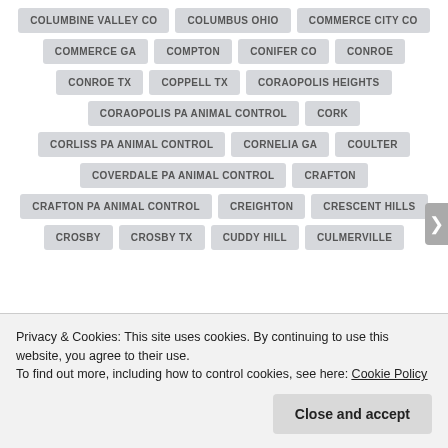COLUMBINE VALLEY CO
COLUMBUS OHIO
COMMERCE CITY CO
COMMERCE GA
COMPTON
CONIFER CO
CONROE
CONROE TX
COPPELL TX
CORAOPOLIS HEIGHTS
CORAOPOLIS PA ANIMAL CONTROL
CORK
CORLISS PA ANIMAL CONTROL
CORNELIA GA
COULTER
COVERDALE PA ANIMAL CONTROL
CRAFTON
CRAFTON PA ANIMAL CONTROL
CREIGHTON
CRESCENT HILLS
CROSBY
CROSBY TX
CUDDY HILL
CULMERVILLE
Privacy & Cookies: This site uses cookies. By continuing to use this website, you agree to their use.
To find out more, including how to control cookies, see here: Cookie Policy
Close and accept